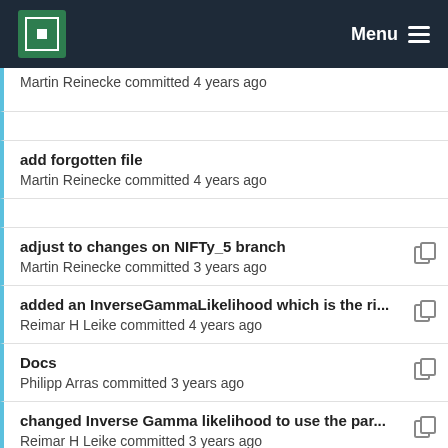MPCDF  Menu
Martin Reinecke committed 4 years ago
add forgotten file
Martin Reinecke committed 4 years ago
adjust to changes on NIFTy_5 branch
Martin Reinecke committed 3 years ago
added an InverseGammaLikelihood which is the ri...
Reimar H Leike committed 4 years ago
Docs
Philipp Arras committed 3 years ago
changed Inverse Gamma likelihood to use the par...
Reimar H Leike committed 3 years ago
cosmetics
Martin Reinecke committed 3 years ago